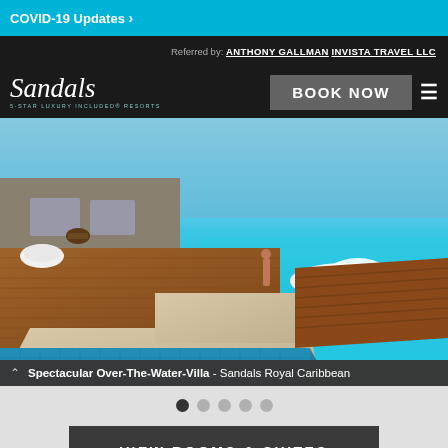COVID-19 Updates >
Referred by: ANTHONY GALLMAN INVISTA TRAVEL LLC
[Figure (logo): Sandals 5-Star Luxury Included Resorts logo in white script on dark background]
BOOK NOW
[Figure (photo): Spectacular Over-The-Water-Villa at Sandals Royal Caribbean — aerial view of overwater bungalow with private pool, wooden deck with lounge chairs, person standing on dock, turquoise ocean water]
Spectacular Over-The-Water-Villa - Sandals Royal Caribbean
VIEW ROOMS & SUITES